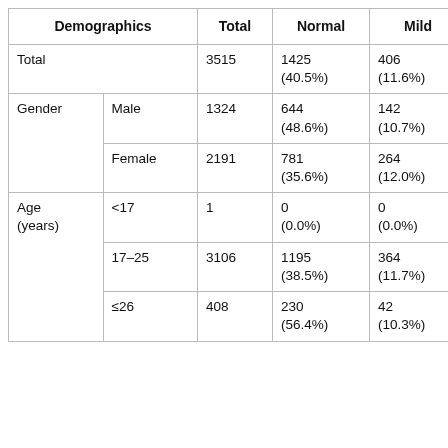| Demographics |  | Total | Normal | Mild |
| --- | --- | --- | --- | --- |
| Total |  | 3515 | 1425
(40.5%) | 406
(11.6%) |
| Gender | Male | 1324 | 644
(48.6%) | 142
(10.7%) |
|  | Female | 2191 | 781
(35.6%) | 264
(12.0%) |
| Age
(years) | <17 | 1 | 0
(0.0%) | 0
(0.0%) |
|  | 17–25 | 3106 | 1195
(38.5%) | 364
(11.7%) |
|  | ≤26 | 408 | 230
(56.4%) | 42
(10.3%) |